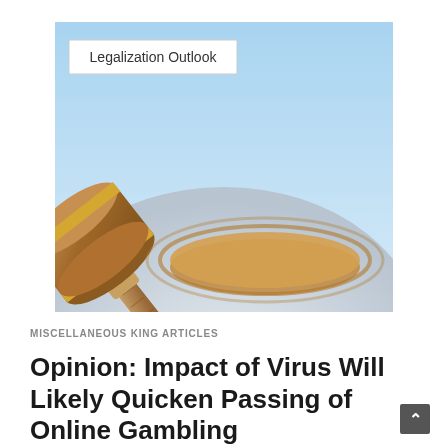[Figure (illustration): Illustration of a wooden judge's gavel resting on a sound block, set against a light blue gradient background with a grey globe/dome shape. A white label box in the upper-left reads 'Legalization Outlook'.]
MISCELLANEOUS KING ARTICLES
Opinion: Impact of Virus Will Likely Quicken Passing of Online Gambling